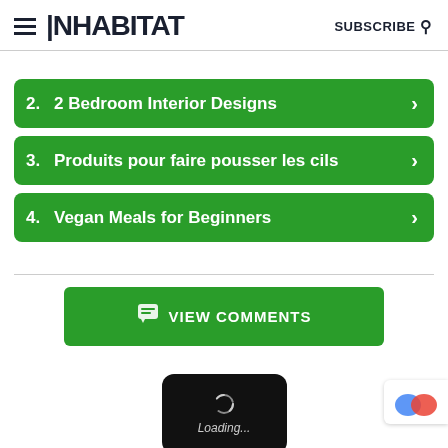INHABIT  SUBSCRIBE
2. 2 Bedroom Interior Designs
3. Produits pour faire pousser les cils
4. Vegan Meals for Beginners
VIEW COMMENTS
[Figure (screenshot): Loading spinner with 'Loading...' text on black rounded rectangle background]